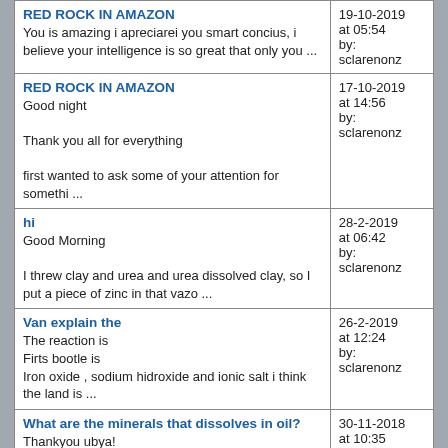| Content | Date/Meta |
| --- | --- |
| RED ROCK IN AMAZON
You is amazing i apreciarei you smart concius, i believe your intelligence is so great that only you ... | 19-10-2019 at 05:54 by: sclarenonz |
| RED ROCK IN AMAZON
Good night

Thank you all for everything

first wanted to ask some of your attention for somethi ... | 17-10-2019 at 14:56 by: sclarenonz |
| hi
Good Morning

I threw clay and urea and urea dissolved clay, so I put a piece of zinc in that vazo ... | 28-2-2019 at 06:42 by: sclarenonz |
| Van explain the
The reaction is
Firts bootle is
Iron oxide , sodium hidroxide and ionic salt i think the land is ... | 26-2-2019 at 12:24 by: sclarenonz |
| What are the minerals that dissolves in oil?
Thankyou ubya!

I tried to use only oil before, but to get the doubt I did it again and took the p ... | 30-11-2018 at 10:35 by: sclarenonz |
| i dont get make dthe movie the internet is very slow
more details
https://cienciadadapordeus.blogspot.com/ | 28-11-2018 at 09:46 by: |